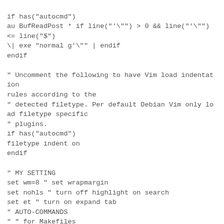if has("autocmd")
au BufReadPost * if line("'\"'') > 0 && line("'\"'') <= line("$")
\| exe "normal g'\"" | endif
endif

" Uncomment the following to have Vim load indentation rules according to the
" detected filetype. Per default Debian Vim only load filetype specific
" plugins.
if has("autocmd")
filetype indent on
endif

" MY SETTING
set wm=8 " set wrapmargin
set nohls " turn off highlight on search
set et " turn on expand tab
" AUTO-COMMANDS
" " for Makefiles
" " added some special formatting in Makefiles
autocmd BufEnter ?akefile* set noet ts=8 sw=8 nocindent list
les=tab:>  trail:x